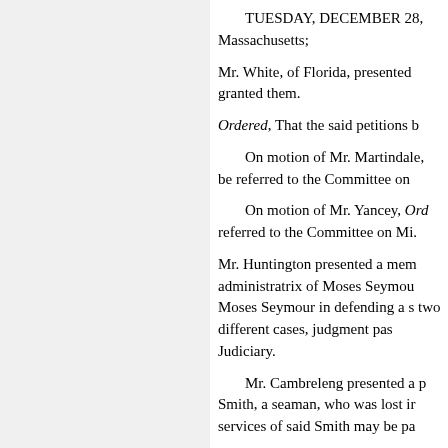TUESDAY, DECEMBER 28, Massachusetts;
Mr. White, of Florida, presented granted them.
Ordered, That the said petitions b
On motion of Mr. Martindale, be referred to the Committee on
On motion of Mr. Yancey, Ord referred to the Committee on Mi.
Mr. Huntington presented a mem administratrix of Moses Seymou Moses Seymour in defending a s two different cases, judgment pas Judiciary.
Mr. Cambreleng presented a p Smith, a seaman, who was lost ir services of said Smith may be pa
Mr. Hinds presented a petition of that so much public land may be said county, as shall include their